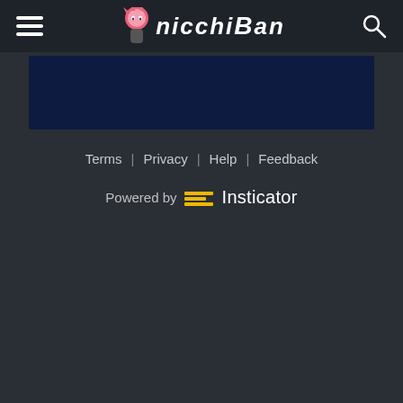nicchiban - navigation header with hamburger menu, logo, and search icon
[Figure (other): Dark navy blue banner/advertisement area]
Terms | Privacy | Help | Feedback
Powered by Insticator